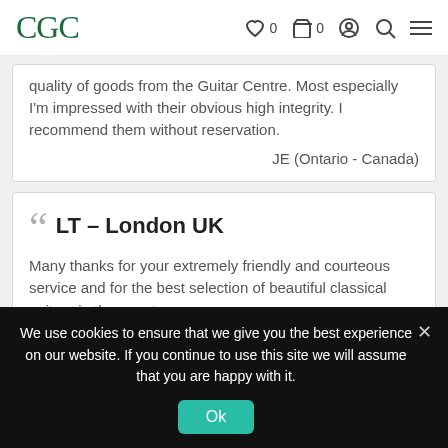CGC  ♡ 0  🛒 0  👤  🔍  ≡
quality of goods from the Guitar Centre. Most especially I'm impressed with their obvious high integrity. I recommend them without reservation.

JE (Ontario - Canada)
LT – London UK
Many thanks for your extremely friendly and courteous service and for the best selection of beautiful classical guitars in the country.

Best wishes always
We use cookies to ensure that we give you the best experience on our website. If you continue to use this site we will assume that you are happy with it.